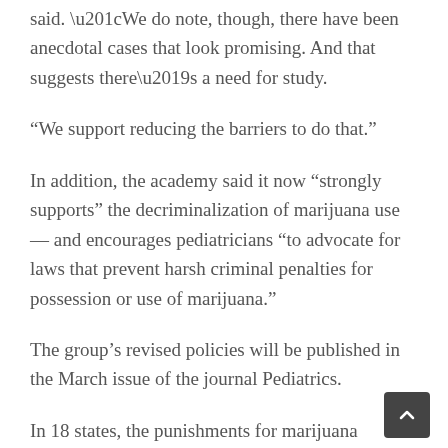said. “We do note, though, there have been anecdotal cases that look promising. And that suggests there’s a need for study.
“We support reducing the barriers to do that.”
In addition, the academy said it now “strongly supports” the decriminalization of marijuana use — and encourages pediatricians “to advocate for laws that prevent harsh criminal penalties for possession or use of marijuana.”
The group’s revised policies will be published in the March issue of the journal Pediatrics.
In 18 states, the punishments for marijuana possession have been made far less punitive, though pot use remains illegal. While those